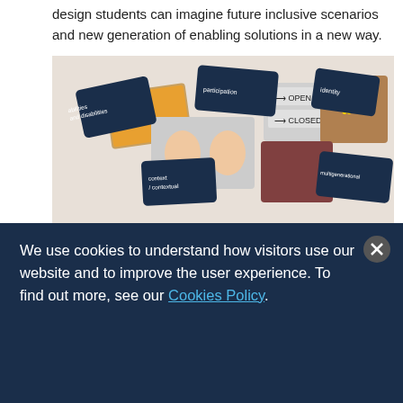design students can imagine future inclusive scenarios and new generation of enabling solutions in a new way.
[Figure (photo): Collection of Inclusive Signs cards scattered on a surface, including dark blue cards with white text (abilities and disabilities, participation, context/contextual, identity, multigenerational) and photographic visual cards (sunset with pier, faces, open/closed sign, children together, cracked earth with flower).]
Figure 1: Inclusive Signs, sample of visual cards and descriptive cards.
The Inclusive Signs toolkit allows the linking of 60 keywords (descriptive cards) relating to social inclusion to 120 evocative images (visual cards) to stimulate the
We use cookies to understand how visitors use our website and to improve the user experience. To find out more, see our Cookies Policy.